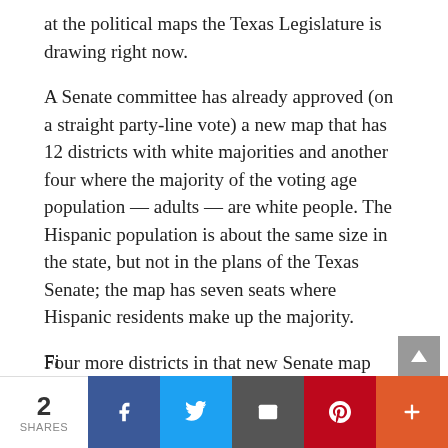at the political maps the Texas Legislature is drawing right now.
A Senate committee has already approved (on a straight party-line vote) a new map that has 12 districts with white majorities and another four where the majority of the voting age population — adults — are white people. The Hispanic population is about the same size in the state, but not in the plans of the Texas Senate; the map has seven seats where Hispanic residents make up the majority.
Four more districts in that new Senate map have majorities of people of color if you add their Black residents and their Hispanic residents together.